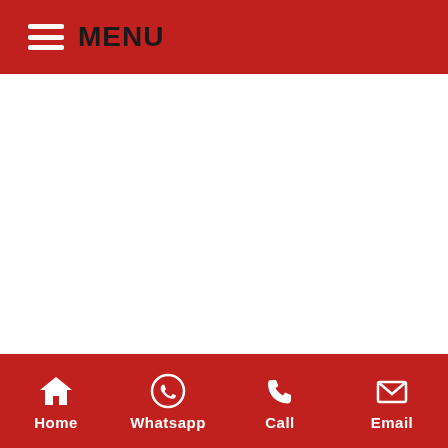MENU
Home  Whatsapp  Call  Email